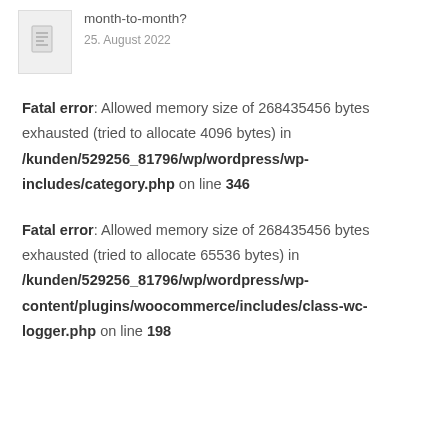month-to-month? 25. August 2022
Fatal error: Allowed memory size of 268435456 bytes exhausted (tried to allocate 4096 bytes) in /kunden/529256_81796/wp/wordpress/wp-includes/category.php on line 346
Fatal error: Allowed memory size of 268435456 bytes exhausted (tried to allocate 65536 bytes) in /kunden/529256_81796/wp/wordpress/wp-content/plugins/woocommerce/includes/class-wc-logger.php on line 198